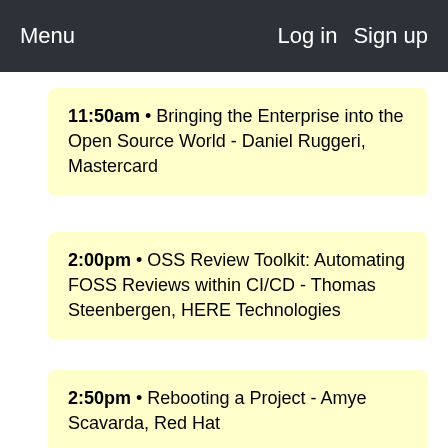Menu   Log in   Sign up
11:50am • Bringing the Enterprise into the Open Source World - Daniel Ruggeri, Mastercard
2:00pm • OSS Review Toolkit: Automating FOSS Reviews within CI/CD - Thomas Steenbergen, HERE Technologies
2:50pm • Rebooting a Project - Amye Scavarda, Red Hat
4:00pm • How & Why We Embraced Open-Source 20 Years Ago And What We Learned! - Amit (partial)